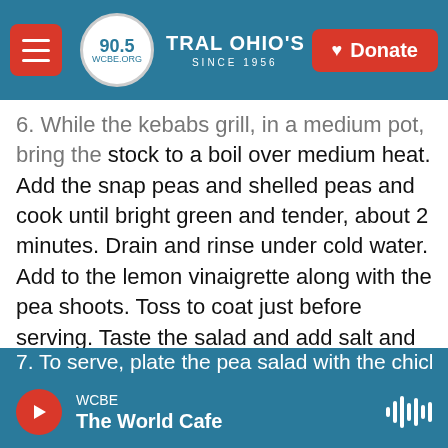90.5 WCBE — CENTRAL OHIO'S ORIGINAL NPR STATION — SINCE 1956 — Donate
6. While the kebabs grill, in a medium pot, bring the stock to a boil over medium heat. Add the snap peas and shelled peas and cook until bright green and tender, about 2 minutes. Drain and rinse under cold water. Add to the lemon vinaigrette along with the pea shoots. Toss to coat just before serving. Taste the salad and add salt and pepper as needed. Set aside half the chicken kebabs and half the pea salad to save for leftovers. Pull the chicken and scallions off the skewers. Cover and store the chicken and salad separately in the fridge for up to 4 days.
WCBE — The World Cafe